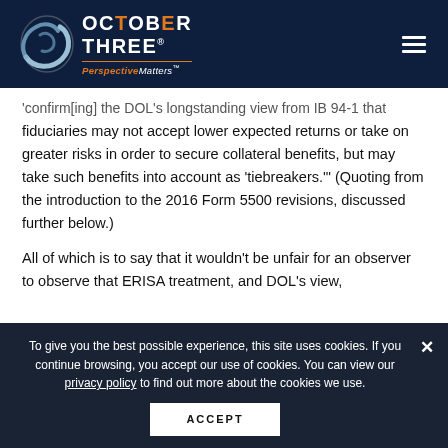October Three – Perspective Matters
'confirm[ing] the DOL's longstanding view from IB 94-1 that fiduciaries may not accept lower expected returns or take on greater risks in order to secure collateral benefits, but may take such benefits into account as 'tiebreakers.'' (Quoting from the introduction to the 2016 Form 5500 revisions, discussed further below.)
All of which is to say that it wouldn't be unfair for an observer to observe that ERISA treatment, and DOL's view,
To give you the best possible experience, this site uses cookies. If you continue browsing, you accept our use of cookies. You can view our privacy policy to find out more about the cookies we use.